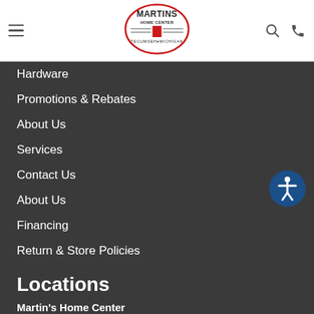[Figure (logo): Martins Home Center oval logo with text MARTINS HOME CENTER TECUMSEH MICHIGAN and decorative elements]
Hardware
Promotions & Rebates
About Us
Services
Contact Us
About Us
Financing
Return & Store Policies
Locations
Martin's Home Center
145 W. Chicago Blvd.
Tecumseh, MI 49286